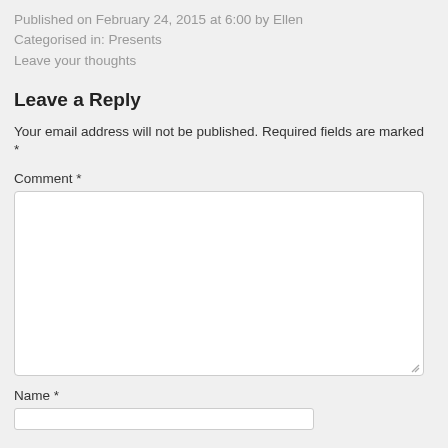Published on February 24, 2015 at 6:00 by Ellen
Categorised in: Presents
Leave your thoughts
Leave a Reply
Your email address will not be published. Required fields are marked *
Comment *
[Figure (other): Comment text area input box]
Name *
[Figure (other): Name text input box]